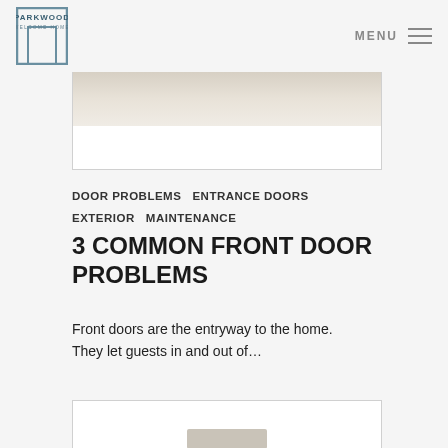PARKWOOD WELCOME HOME | MENU
[Figure (photo): Top image card showing a partial photo with beige/cream tones, cropped at the top of the content area]
DOOR PROBLEMS  ENTRANCE DOORS  EXTERIOR  MAINTENANCE
3 COMMON FRONT DOOR PROBLEMS
Front doors are the entryway to the home. They let guests in and out of…
[Figure (photo): Bottom image card partially visible at the bottom of the page]